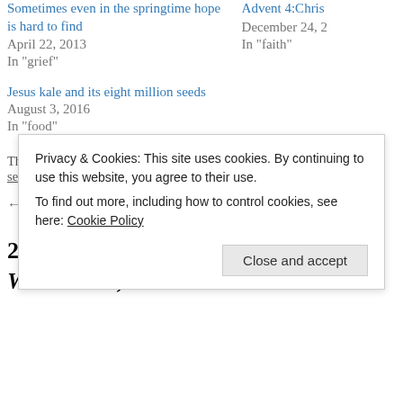Sometimes even in the springtime hope is hard to find
April 22, 2013
In "grief"
Advent 4:Chris...
December 24, 2...
In "faith"
Jesus kale and its eight million seeds
August 3, 2016
In "food"
This entry was posted in Uncategorized and tagged life, neighbourhood, seas...
← Garden catalogue, winter fun
2 Responses to Snow day in high def. With sound, too.
Privacy & Cookies: This site uses cookies. By continuing to use this website, you agree to their use.
To find out more, including how to control cookies, see here: Cookie Policy